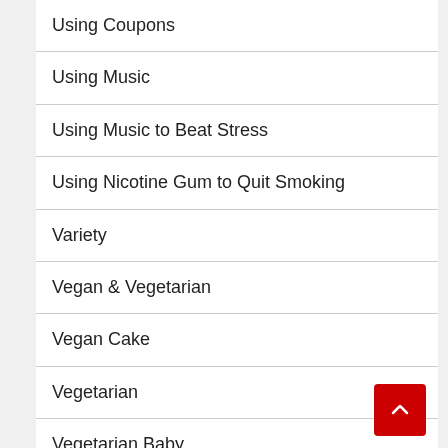Using Coupons
Using Music
Using Music to Beat Stress
Using Nicotine Gum to Quit Smoking
Variety
Vegan & Vegetarian
Vegan Cake
Vegetarian
Vegetarian Baby